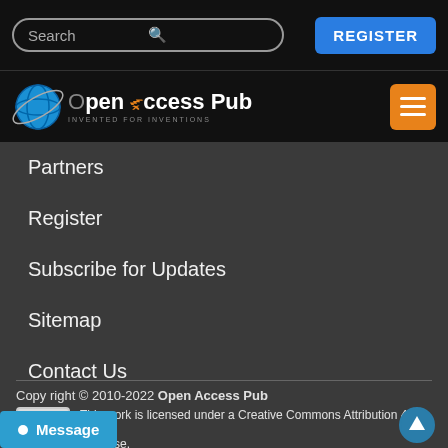Search | REGISTER
[Figure (logo): Open Access Pub logo with globe icon and hamburger menu button]
Partners
Register
Subscribe for Updates
Sitemap
Contact Us
Copy right © 2010-2022 Open Access Pub
This work is licensed under a Creative Commons Attribution 4.0 International License.
Facebook   Twitter   Linkedin